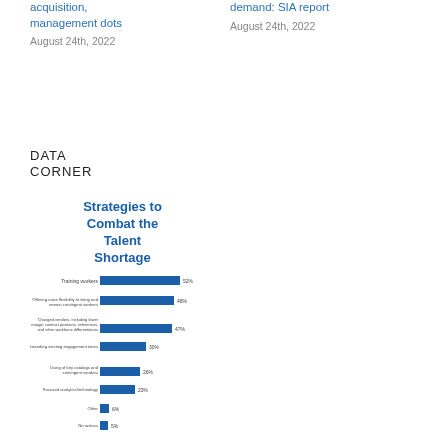acquisition, management dots
August 24th, 2022
demand: SIA report
August 24th, 2022
DATA CORNER
Strategies to Combat the Talent Shortage
[Figure (bar-chart): Strategies to Combat the Talent Shortage]
What actions have contingent workforce